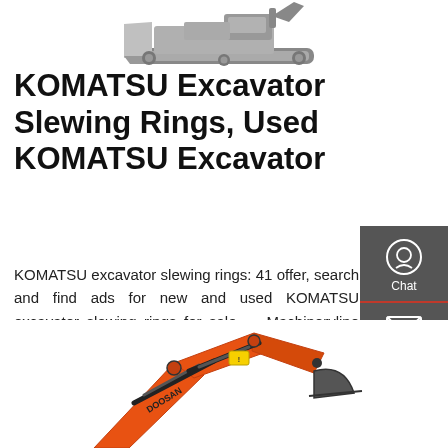[Figure (photo): Top portion of a Komatsu bulldozer/crawler machine on white background]
KOMATSU Excavator Slewing Rings, Used KOMATSU Excavator
KOMATSU excavator slewing rings: 41 offer, search and find ads for new and used KOMATSU excavator slewing rings for sale — Machineryline Kenya
[Figure (other): Right sidebar with Chat, Email, and Contact icons on dark grey background with red dividers]
[Figure (other): Get a Quote dark button]
[Figure (photo): Bottom portion showing an orange Doosan excavator arm/boom on white background]